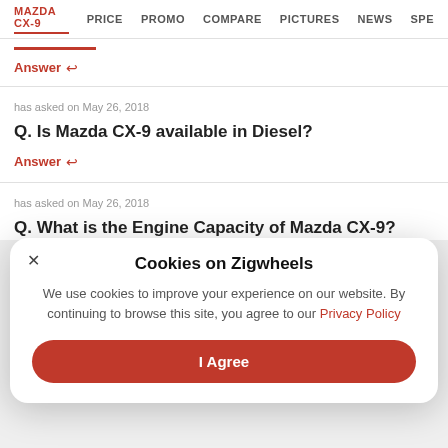MAZDA CX-9 | PRICE | PROMO | COMPARE | PICTURES | NEWS | SPE
Answer ↩
has asked on May 26, 2018
Q. Is Mazda CX-9 available in Diesel?
Answer ↩
has asked on May 26, 2018
Q. What is the Engine Capacity of Mazda CX-9?
Cookies on Zigwheels
We use cookies to improve your experience on our website. By continuing to browse this site, you agree to our Privacy Policy
I Agree